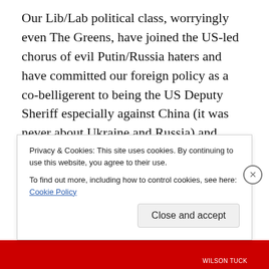Our Lib/Lab political class, worryingly even The Greens, have joined the US-led chorus of evil Putin/Russia haters and have committed our foreign policy as a co-belligerent to being the US Deputy Sheriff especially against China (it was never about Ukraine and Russia) and made us a nuclear target. Inevitably, Australia will provoke an military conflict with conventional arms in the South China Seas around Taiwan threatening China's sovereignty. China will have no option but to retaliate militarily with conventional arms. When the body bags of Australian ADF personnel return to our shores, the Lib/Lab/Greens troika will go
Privacy & Cookies: This site uses cookies. By continuing to use this website, you agree to their use.
To find out more, including how to control cookies, see here: Cookie Policy
Close and accept